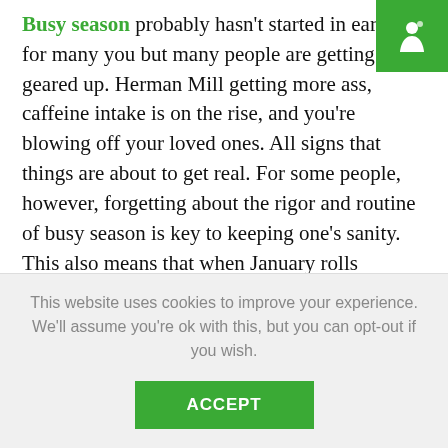Busy season probably hasn't started in earnest for many you but many people are getting geared up. Herman Mill getting more ass, caffeine intake is on the rise, and you're blowing off your loved ones. All signs that things are about to get real. For some people, however, forgetting about the rigor and routine of busy season is key to keeping one's sanity. This also means that when January rolls around, certain policies can be blissfully be forgotten much to the chagrin of the leaders in your office.

That said, Deloitte Hong Kong probably doesn't adhere to
This website uses cookies to improve your experience. We'll assume you're ok with this, but you can opt-out if you wish.